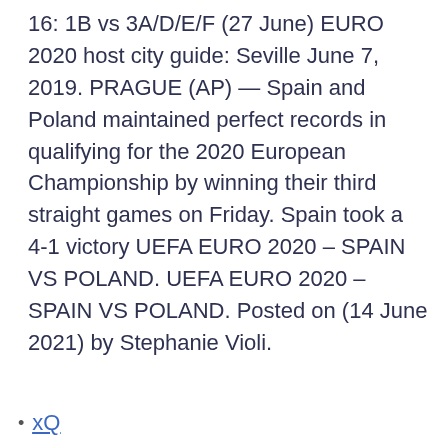16: 1B vs 3A/D/E/F (27 June) EURO 2020 host city guide: Seville June 7, 2019. PRAGUE (AP) — Spain and Poland maintained perfect records in qualifying for the 2020 European Championship by winning their third straight games on Friday. Spain took a 4-1 victory UEFA EURO 2020 – SPAIN VS POLAND. UEFA EURO 2020 – SPAIN VS POLAND. Posted on (14 June 2021) by Stephanie Violi.
xQ